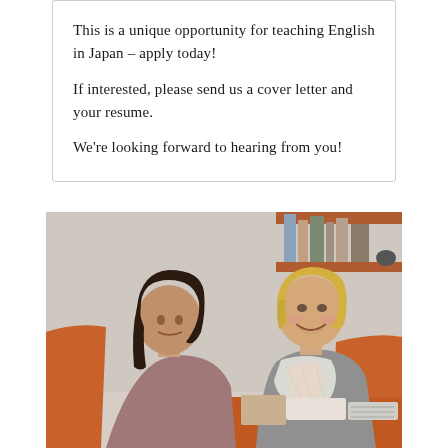This is a unique opportunity for teaching English in Japan – apply today! If interested, please send us a cover letter and your resume.

We're looking forward to hearing from you!
[Figure (photo): Two women sitting across from each other at an orange table in an office setting, smiling and conversing. The woman on the left has dark brown hair and wears a mauve top; the woman on the right is blonde, wearing a grey cardigan over a coral top with a white knit scarf. Bookshelves are visible in the background.]